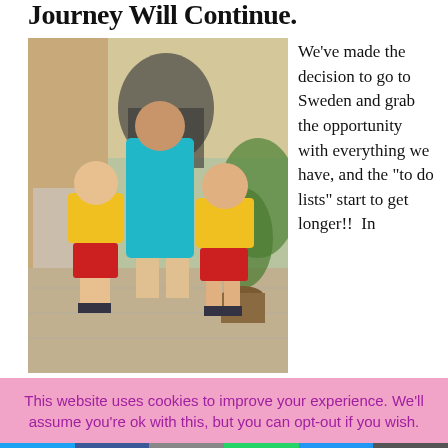Journey Will Continue.
[Figure (photo): Three children posing outdoors in a garden/patio area. Two younger boys wearing yellow t-shirts and red shorts, and an older girl in a turquoise dress, standing together smiling.]
We've made the decision to go to Sweden and grab the opportunity with everything we have, and the “to do lists” start to get longer!!  In
This website uses cookies to improve your experience. We'll assume you're ok with this, but you can opt-out if you wish.
Twitter | Facebook | Email | WhatsApp | SMS | More